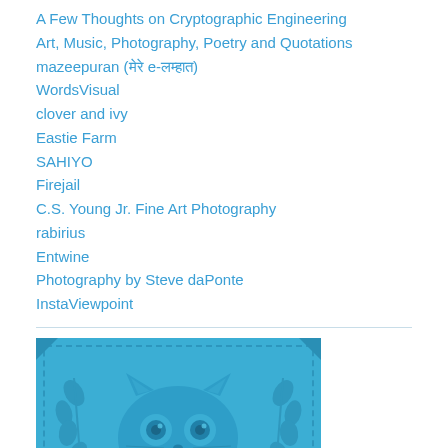A Few Thoughts on Cryptographic Engineering
Art, Music, Photography, Poetry and Quotations
mazeepuran (मेरे e-लम्हात)
WordsVisual
clover and ivy
Eastie Farm
SAHIYO
Firejail
C.S. Young Jr. Fine Art Photography
rabirius
Entwine
Photography by Steve daPonte
InstaViewpoint
[Figure (illustration): A decorative blue-toned image featuring a cartoon owl/cat face with large circular eyes, surrounded by leaf/branch ornamental designs, with a stitched border pattern. The image has a monochromatic blue color scheme.]